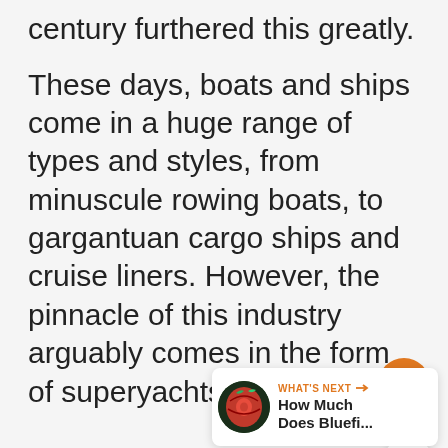century furthered this greatly.
These days, boats and ships come in a huge range of types and styles, from minuscule rowing boats, to gargantuan cargo ships and cruise liners. However, the pinnacle of this industry arguably comes in the form of superyachts.
[Figure (illustration): Orange circular heart/like button with heart icon, a count of 1 below it, and a white circular share button with network/share icon]
[Figure (illustration): What's Next card showing a circular thumbnail image of bluefin tuna/fish slice, with orange label 'WHAT'S NEXT →' and title text 'How Much Does Bluefi...']